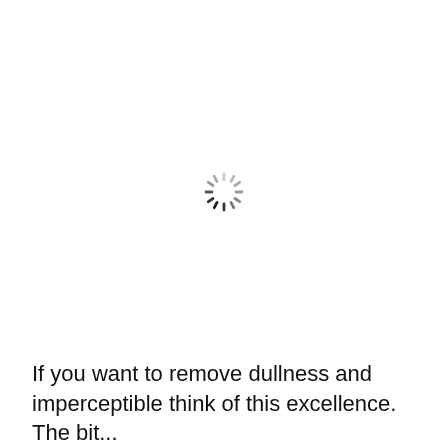[Figure (other): A loading spinner icon consisting of short radial dashes arranged in a circle, with darker dashes at the bottom and lighter/gray dashes at the top, typical of a browser loading indicator.]
If you want to remove dullness and imperceptible think of this excellence. The bit...